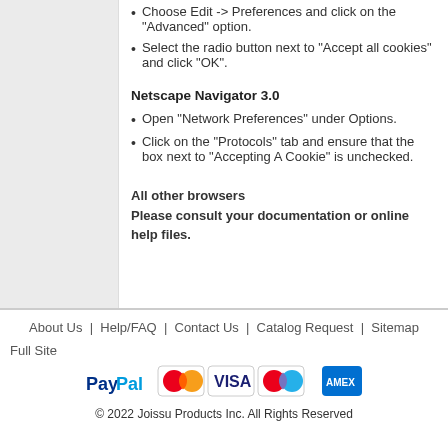Choose Edit -> Preferences and click on the "Advanced" option.
Select the radio button next to "Accept all cookies" and click "OK".
Netscape Navigator 3.0
Open "Network Preferences" under Options.
Click on the "Protocols" tab and ensure that the box next to "Accepting A Cookie" is unchecked.
All other browsers
Please consult your documentation or online help files.
About Us | Help/FAQ | Contact Us | Catalog Request | Sitemap
Full Site
© 2022 Joissu Products Inc. All Rights Reserved